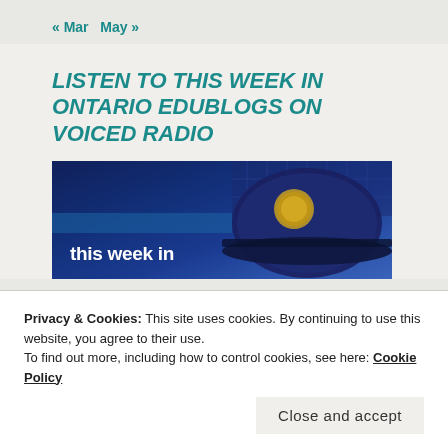<< Mar  May >>
LISTEN TO THIS WEEK IN ONTARIO EDUBLOGS ON VOICED RADIO
[Figure (photo): Police officer cap with badge in foreground against a building background, with text overlay reading 'this week in']
Privacy & Cookies: This site uses cookies. By continuing to use this website, you agree to their use.
To find out more, including how to control cookies, see here: Cookie Policy
Close and accept